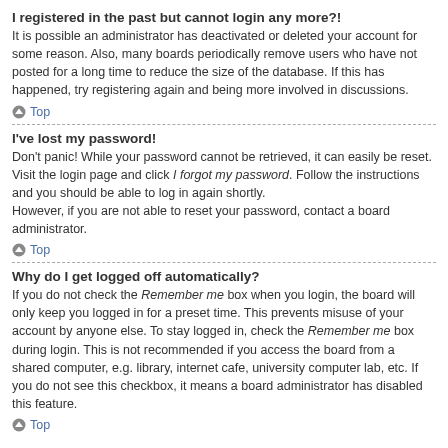I registered in the past but cannot login any more?!
It is possible an administrator has deactivated or deleted your account for some reason. Also, many boards periodically remove users who have not posted for a long time to reduce the size of the database. If this has happened, try registering again and being more involved in discussions.
Top
I've lost my password!
Don't panic! While your password cannot be retrieved, it can easily be reset. Visit the login page and click I forgot my password. Follow the instructions and you should be able to log in again shortly.
However, if you are not able to reset your password, contact a board administrator.
Top
Why do I get logged off automatically?
If you do not check the Remember me box when you login, the board will only keep you logged in for a preset time. This prevents misuse of your account by anyone else. To stay logged in, check the Remember me box during login. This is not recommended if you access the board from a shared computer, e.g. library, internet cafe, university computer lab, etc. If you do not see this checkbox, it means a board administrator has disabled this feature.
Top